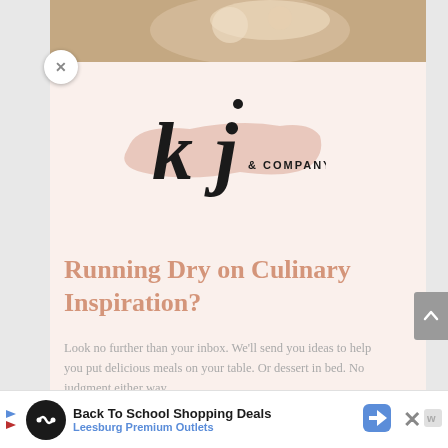[Figure (photo): Food photo at top, showing a dessert with nuts/toppings]
[Figure (logo): KJ & Company logo with cursive 'kj' text on a peach brushstroke background]
Running Dry on Culinary Inspiration?
Look no further than your inbox. We'll send you ideas to help you put delicious meals on your table. Or dessert in bed. No judgment either way.
[Figure (infographic): Advertisement banner: Back To School Shopping Deals - Leesburg Premium Outlets]